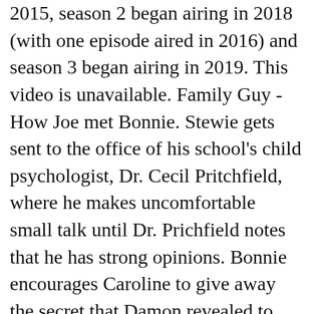2015, season 2 began airing in 2018 (with one episode aired in 2016) and season 3 began airing in 2019. This video is unavailable. Family Guy - How Joe met Bonnie. Stewie gets sent to the office of his school's child psychologist, Dr. Cecil Pritchfield, where he makes uncomfortable small talk until Dr. Prichfield notes that he has strong opinions. Bonnie encourages Caroline to give away the secret that Damon revealed to her about Stefan. The show was cancelled in 2002, but after extremely positive response to DVDs and reruns on Adult Swim , production of new episodes for FOX resumed in 2005. 0:51. Both occur during the end of the episode. She is played by Valerie Bertinelli in the movie Rolling Courage: The Joe Swanson Story in "Ready, Willing, and Disabled". Joe considers having an affair of his own in "Internal Affairs", resulting in Bonnie